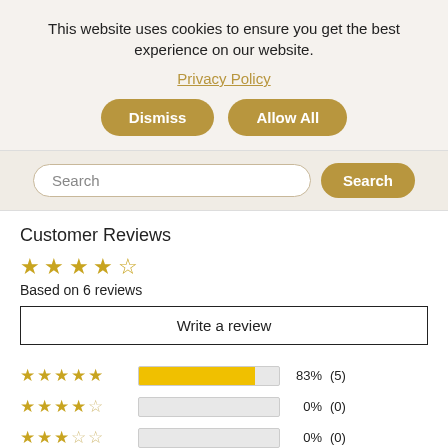This website uses cookies to ensure you get the best experience on our website.
Privacy Policy
Dismiss
Allow All
Search
Customer Reviews
Based on 6 reviews
Write a review
[Figure (bar-chart): Rating distribution]